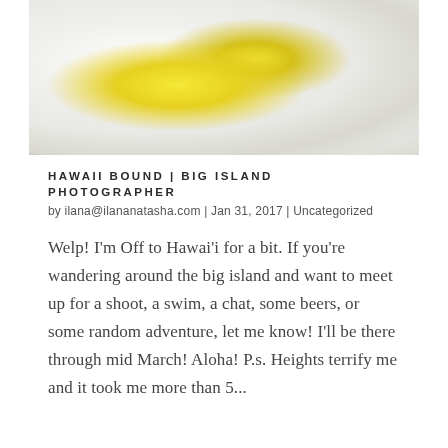[Figure (photo): Close-up macro photo of a white tropical flower (plumeria/frangipani) with a yellow center, on a dark/black background]
HAWAII BOUND | BIG ISLAND PHOTOGRAPHER
by ilana@ilananatasha.com | Jan 31, 2017 | Uncategorized
Welp! I'm Off to Hawai'i for a bit. If you're wandering around the big island and want to meet up for a shoot, a swim, a chat, some beers, or some random adventure, let me know! I'll be there through mid March! Aloha! P.s. Heights terrify me and it took me more than 5...